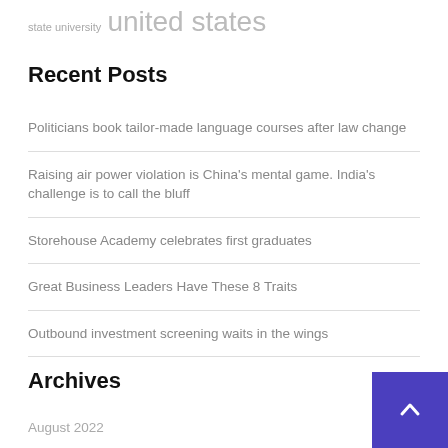state university   united states
Recent Posts
Politicians book tailor-made language courses after law change
Raising air power violation is China's mental game. India's challenge is to call the bluff
Storehouse Academy celebrates first graduates
Great Business Leaders Have These 8 Traits
Outbound investment screening waits in the wings
Archives
August 2022